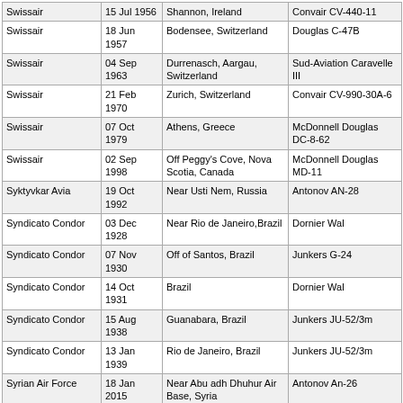| Swissair | 15 Jul 1956 | Shannon, Ireland | Convair CV-440-11 |
| Swissair | 18 Jun 1957 | Bodensee, Switzerland | Douglas C-47B |
| Swissair | 04 Sep 1963 | Durrenasch, Aargau, Switzerland | Sud-Aviation Caravelle III |
| Swissair | 21 Feb 1970 | Zurich, Switzerland | Convair CV-990-30A-6 |
| Swissair | 07 Oct 1979 | Athens, Greece | McDonnell Douglas DC-8-62 |
| Swissair | 02 Sep 1998 | Off Peggy's Cove, Nova Scotia, Canada | McDonnell Douglas MD-11 |
| Syktyvkar Avia | 19 Oct 1992 | Near Usti Nem, Russia | Antonov AN-28 |
| Syndicato Condor | 03 Dec 1928 | Near Rio de Janeiro,Brazil | Dornier Wal |
| Syndicato Condor | 07 Nov 1930 | Off of Santos, Brazil | Junkers G-24 |
| Syndicato Condor | 14 Oct 1931 | Brazil | Dornier Wal |
| Syndicato Condor | 15 Aug 1938 | Guanabara, Brazil | Junkers JU-52/3m |
| Syndicato Condor | 13 Jan 1939 | Rio de Janeiro, Brazil | Junkers JU-52/3m |
| Syrian Air Force | 18 Jan 2015 | Near Abu adh Dhuhur Air Base, Syria | Antonov An-26 |
| Syrian Airways | 21 Dec 1953 | Dah-el-Kadeeb, Syria | Douglas DC-3 |